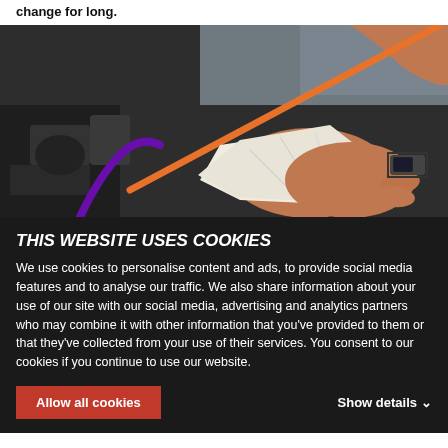change for long.
[Figure (photo): A mechanic's hand holding a white cloth and wiping an orange dipstick over a car engine bay. The hand is wearing a watch. The engine components are visible in the background.]
THIS WEBSITE USES COOKIES
We use cookies to personalise content and ads, to provide social media features and to analyse our traffic. We also share information about your use of our site with our social media, advertising and analytics partners who may combine it with other information that you've provided to them or that they've collected from your use of their services. You consent to our cookies if you continue to use our website.
Allow all cookies
Show details